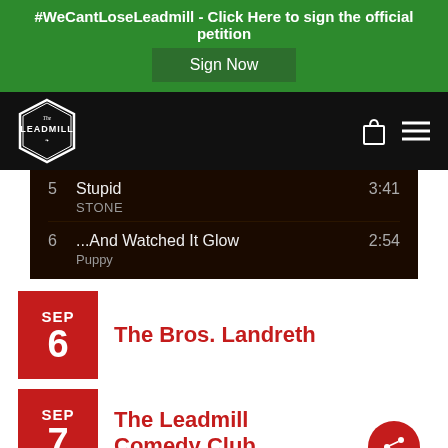#WeCantLoseLeadmill - Click Here to sign the official petition
Sign Now
[Figure (logo): The Leadmill hexagon logo in white on black navigation bar]
5  Stupid  3:41
STONE
6  ...And Watched It Glow  2:54
Puppy
SEP 6  The Bros. Landreth
SEP 7  The Leadmill Comedy Club